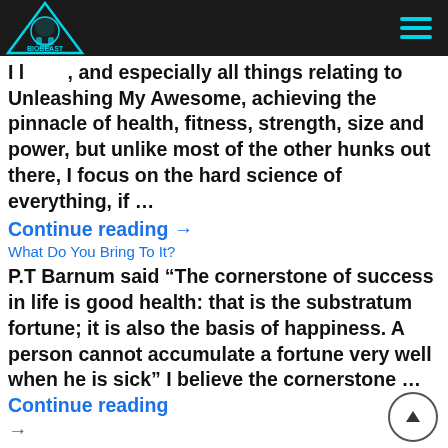BioBeast logo and navigation header
I l... and especially all things relating to Unleashing My Awesome, achieving the pinnacle of health, fitness, strength, size and power, but unlike most of the other hunks out there, I focus on the hard science of everything, if ...
Continue reading →
What Do You Bring To It?
P.T Barnum said “The cornerstone of success in life is good health: that is the substratum fortune; it is also the basis of happiness. A person cannot accumulate a fortune very well when he is sick” I believe the cornerstone ... Continue reading →
The BioBeast Nature x Nurture Equation
So are we born this way? Or Made? Are We Created or Nurtured? Is Aggression Inherited? Is Genius Born? This is a